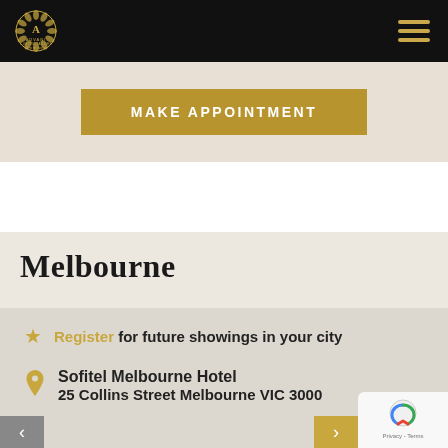Advani Custom Tailors — Dress for Success
MAKE APPOINTMENT
Melbourne
Register for future showings in your city
Sofitel Melbourne Hotel
25 Collins Street Melbourne VIC 3000